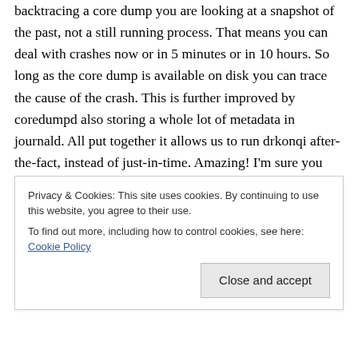backtracing a core dump you are looking at a snapshot of the past, not a still running process. That means you can deal with crashes now or in 5 minutes or in 10 hours. So long as the core dump is available on disk you can trace the cause of the crash. This is further improved by coredumpd also storing a whole lot of metadata in journald. All put together it allows us to run drkonqi after-the-fact, instead of just-in-time. Amazing! I'm sure you will agree.
For the user everything looks the same, but under the hood we've gotten rid of various race conditions and
Privacy & Cookies: This site uses cookies. By continuing to use this website, you agree to their use.
To find out more, including how to control cookies, see here: Cookie Policy